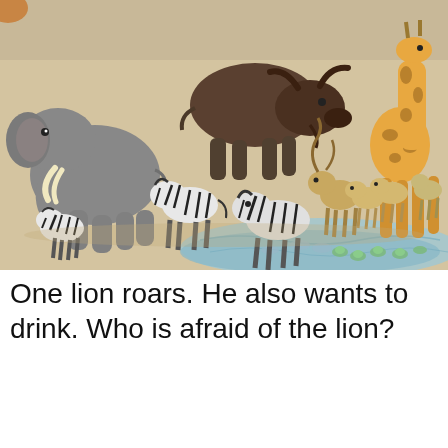[Figure (illustration): Illustration of African savanna animals gathered near a watering hole. From left to right: an elephant with tusks, three zebras, a large dark buffalo/wildebeest running in the background, a kudu with spiral horns, several antelope/impala, a giraffe on the right, and frogs and fish visible in the blue water at the bottom. The scene is drawn in a cartoon/illustrated style on a sandy background.]
One lion roars. He also wants to drink. Who is afraid of the lion?